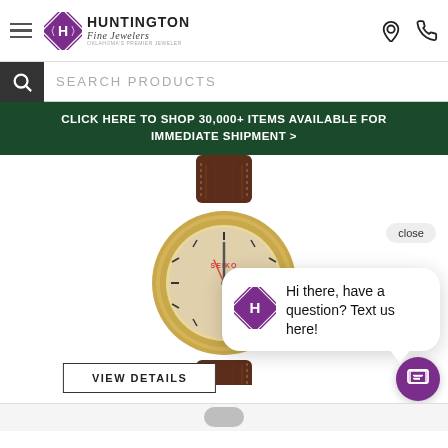[Figure (logo): Huntington Fine Jewelers logo with diamond H emblem]
SEARCH PRODUCTS
CLICK HERE TO SHOP 30,000+ ITEMS AVAILABLE FOR IMMEDIATE SHIPMENT >
[Figure (photo): Seiko watch with gold case and brown leather strap, champagne dial showing MON 8]
close
[Figure (logo): Huntington Fine Jewelers diamond H logo in chat popup]
Hi there, have a question? Text us here!
VIEW DETAILS